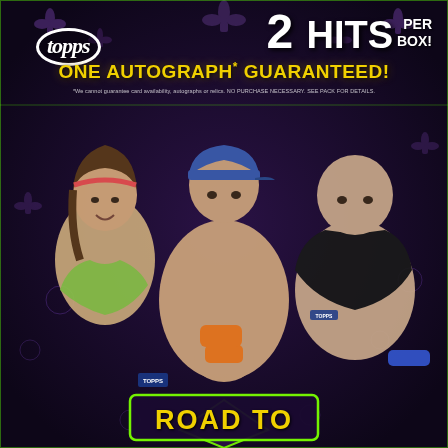[Figure (photo): WWE Topps trading card box packaging showing three wrestlers on a dark purple/black background with fleur-de-lis pattern. Left: female wrestler Bayley in green outfit with red headband. Center: John Cena shirtless in blue cap with orange wristbands. Right: large male wrestler in black tank top. Text overlays include Topps logo, 2 HITS PER BOX!, ONE AUTOGRAPH GUARANTEED!, disclaimer text, and ROAD TO banner at bottom.]
2 HITS PER BOX!
ONE AUTOGRAPH GUARANTEED!
*We cannot guarantee card availability, autographs or relics. NO PURCHASE NECESSARY. SEE PACK FOR DETAILS.
ROAD TO